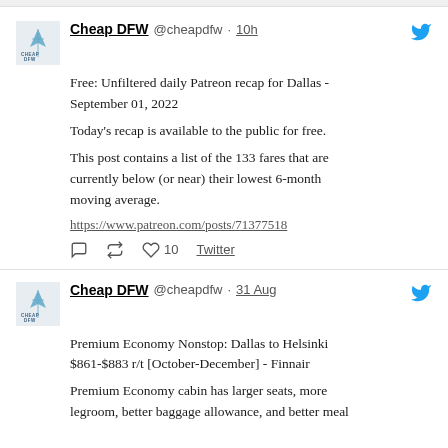[Figure (logo): Cheap DFW logo with airplane graphic]
Cheap DFW @cheapdfw · 10h
Free: Unfiltered daily Patreon recap for Dallas - September 01, 2022

Today's recap is available to the public for free.

This post contains a list of the 133 fares that are currently below (or near) their lowest 6-month moving average.

https://www.patreon.com/posts/71377518
♡ 10  Twitter
[Figure (logo): Cheap DFW logo with airplane graphic]
Cheap DFW @cheapdfw · 31 Aug
Premium Economy Nonstop: Dallas to Helsinki $861-$883 r/t [October-December] - Finnair

Premium Economy cabin has larger seats, more legroom, better baggage allowance, and better meal